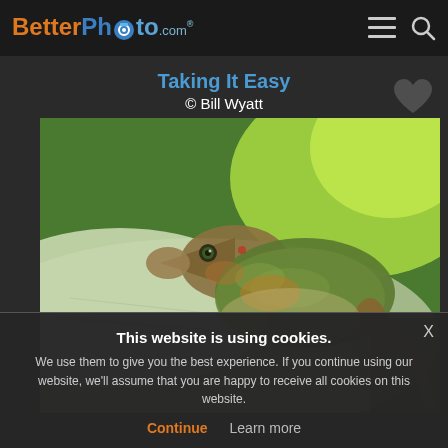BetterPhoto.com
Taking It Easy
© Bill Wyatt
[Figure (photo): Close-up macro photograph of a small green anole lizard resting on a large green leaf, looking toward the camera. Background is blurred green foliage.]
This website is using cookies.
We use them to give you the best experience. If you continue using our website, we'll assume that you are happy to receive all cookies on this website.
Continue   Learn more